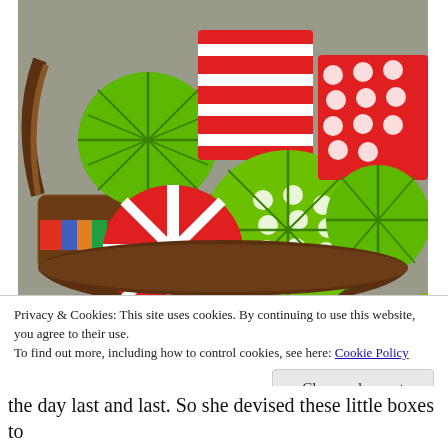[Figure (photo): A wicker basket filled with colorful origami paper boxes/balls in green, red and white striped and polka dot patterns, lined with a multicolored striped fabric.]
Privacy & Cookies: This site uses cookies. By continuing to use this website, you agree to their use.
To find out more, including how to control cookies, see here: Cookie Policy
Close and accept
the day last and last. So she devised these little boxes to